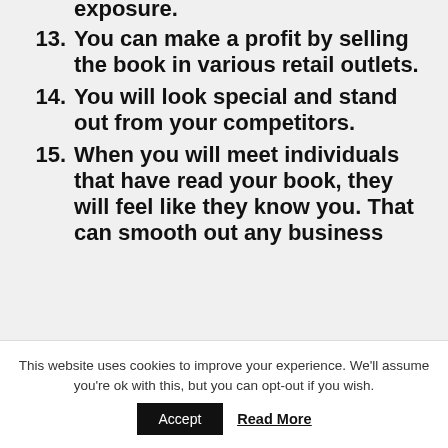exposure.
13. You can make a profit by selling the book in various retail outlets.
14. You will look special and stand out from your competitors.
15. When you will meet individuals that have read your book, they will feel like they know you. That can smooth out any business
This website uses cookies to improve your experience. We'll assume you're ok with this, but you can opt-out if you wish.